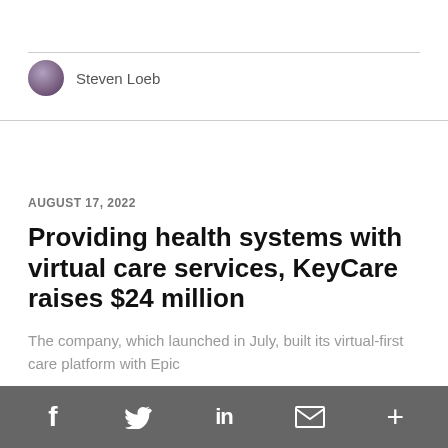Steven Loeb
AUGUST 17, 2022
Providing health systems with virtual care services, KeyCare raises $24 million
The company, which launched in July, built its virtual-first care platform with Epic
Read more...
f  Twitter  in  M  +